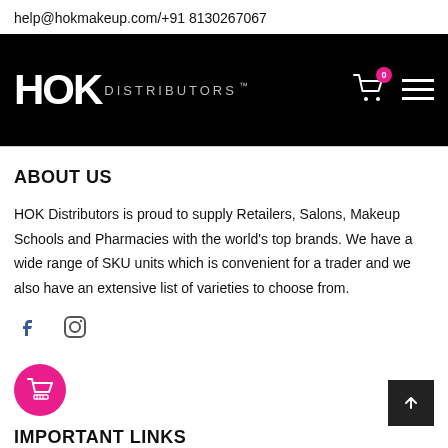help@hokmakeup.com/+91 8130267067
[Figure (logo): HOK Distributors logo on black navigation bar with cart icon (badge: 0) and hamburger menu]
ABOUT US
HOK Distributors is proud to supply Retailers, Salons, Makeup Schools and Pharmacies with the world's top brands. We have a wide range of SKU units which is convenient for a trader and we also have an extensive list of varieties to choose from.
[Figure (illustration): Facebook and Instagram social media icons]
IMPORTANT LINKS